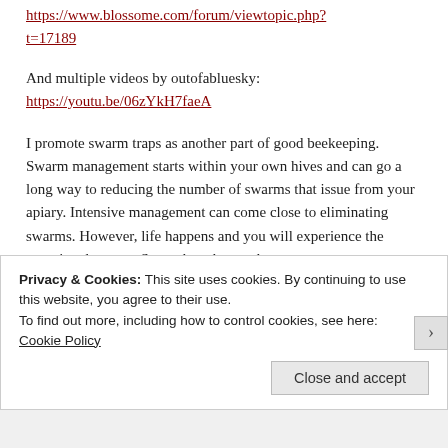https://www.blossome.com/forum/viewtopic.php?t=17189
And multiple videos by outofabluesky:
https://youtu.be/06zYkH7faeA
I promote swarm traps as another part of good beekeeping. Swarm management starts within your own hives and can go a long way to reducing the number of swarms that issue from your apiary. Intensive management can come close to eliminating swarms. However, life happens and you will experience the occasional swarm. Some thoughts on the
Privacy & Cookies: This site uses cookies. By continuing to use this website, you agree to their use.
To find out more, including how to control cookies, see here: Cookie Policy
Close and accept